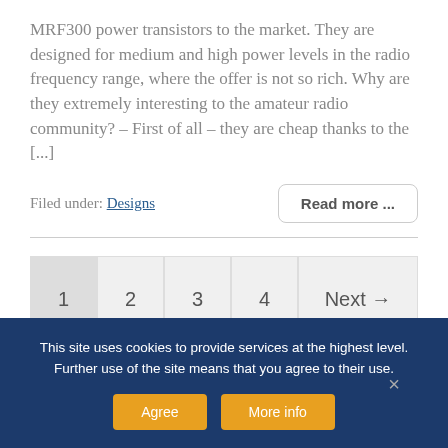MRF300 power transistors to the market. They are designed for medium and high power levels in the radio frequency range, where the offer is not so rich. Why are they extremely interesting to the amateur radio community? – First of all – they are cheap thanks to the [...]
Filed under: Designs
Read more ...
1   2   3   4   Next →
This site uses cookies to provide services at the highest level. Further use of the site means that you agree to their use.
Agree   More info